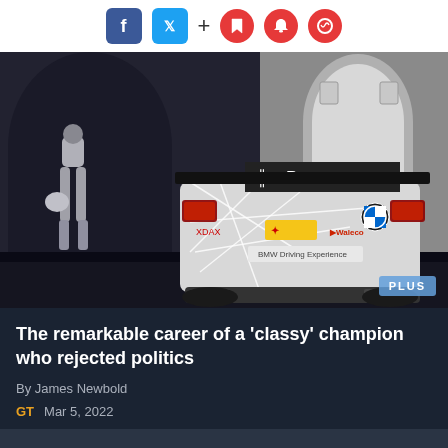Social share bar with Facebook, Twitter, plus, bookmark, bell, and comment icons
[Figure (photo): A racing driver in a white suit holding a helmet stands next to a BMW M Power DTM race car (rear view, white geometric livery with 'BMW Driving Experience' branding) in front of arched building facade at night. A 'PLUS' badge appears in the bottom-right corner of the image.]
The remarkable career of a 'classy' champion who rejected politics
By James Newbold
GT   Mar 5, 2022